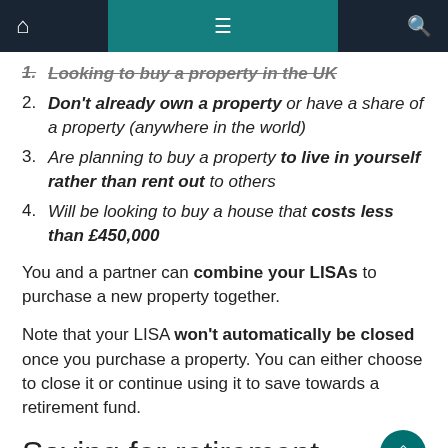Navigation bar with home, menu, and search icons
1. Looking to buy a property in the UK
2. Don't already own a property or have a share of a property (anywhere in the world)
3. Are planning to buy a property to live in yourself rather than rent out to others
4. Will be looking to buy a house that costs less than £450,000
You and a partner can combine your LISAs to purchase a new property together.
Note that your LISA won't automatically be closed once you purchase a property. You can either choose to close it or continue using it to save towards a retirement fund.
Saving for retirement
If you start out saving for a property but then decide you